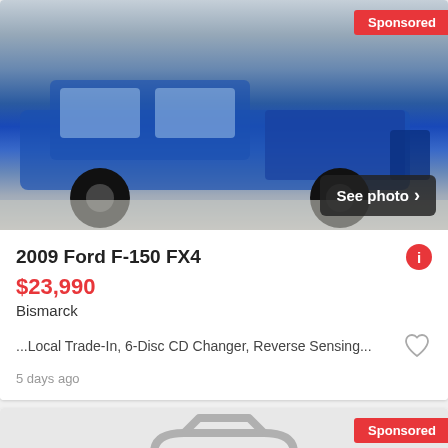[Figure (photo): Blue 2009 Ford F-150 FX4 pickup truck with black wheels in a garage/dealership setting with a 'Sponsored' badge and 'See photo >' overlay button]
2009 Ford F-150 FX4
$23,990
Bismarck
...Local Trade-In, 6-Disc CD Changer, Reverse Sensing...
5 days ago
[Figure (photo): Partial view of a second vehicle listing card with 'Sponsored' badge, showing a gray car silhouette placeholder on light background]